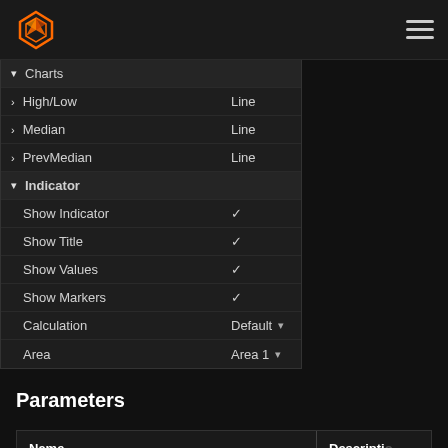Navigation bar with logo and hamburger menu
|  | Name | Value |
| --- | --- | --- |
| ▾ | Charts |  |
| > | High/Low | Line |
| > | Median | Line |
| > | PrevMedian | Line |
| ▾ | Indicator |  |
|  | Show Indicator | ✓ |
|  | Show Title | ✓ |
|  | Show Values | ✓ |
|  | Show Markers | ✓ |
|  | Calculation | Default ▾ |
|  | Area | Area 1 ▾ |
Parameters
| Name | Description |
| --- | --- |